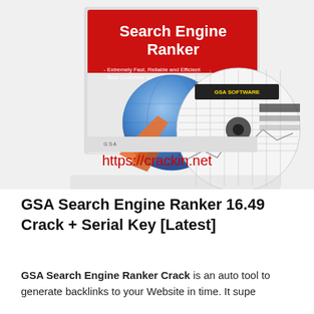[Figure (photo): Product box and CD for GSA Search Engine Ranker software. The box has a red top with white bold text 'Search Engine Ranker' and smaller text '- Extremely Fast, Reliable and Efficient / - Best Customer Service for every Product 24/7'. A blue globe with an orange rocket and a GSA SOFTWARE labeled CD disc are shown. A watermark URL https://crackin.net appears in red text over the image.]
GSA Search Engine Ranker 16.49 Crack + Serial Key [Latest]
GSA Search Engine Ranker Crack is an auto tool to generate backlinks to your Website in time. It supe...